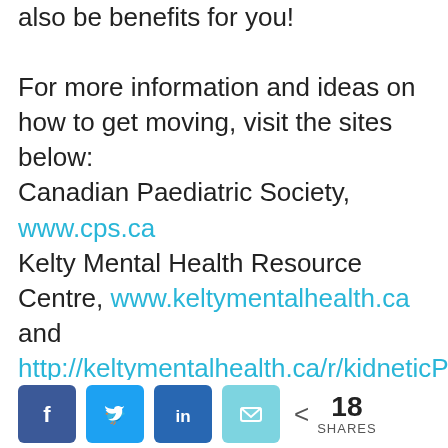also be benefits for you!

For more information and ideas on how to get moving, visit the sites below:
Canadian Paediatric Society, www.cps.ca
Kelty Mental Health Resource Centre, www.keltymentalhealth.ca and http://keltymentalhealth.ca/r/kidneticPartic
www.participaction.com
The Gold Standard in Exercise Science and Personal Training,
[Figure (other): Social share bar with Facebook, Twitter, LinkedIn, Email buttons and share count of 18]